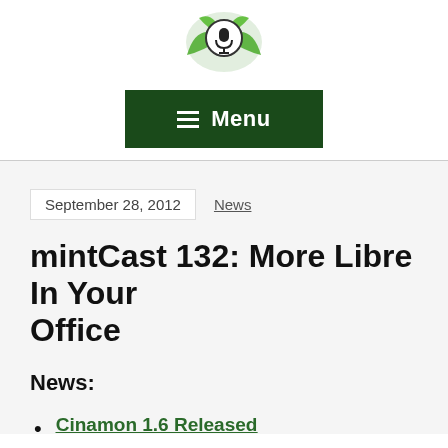[Figure (logo): MintCast podcast logo: a microphone icon inside a circle, surrounded by green mint leaves]
[Figure (other): Dark green Menu button with hamburger icon and 'Menu' text in white]
September 28, 2012
News
mintCast 132: More Libre In Your Office
News:
Cinamon 1.6 Released